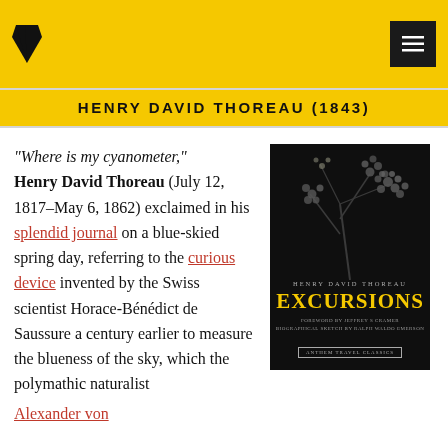Header with logo and navigation menu icon
HENRY DAVID THOREAU (1843)
“Where is my cyanometer,” Henry David Thoreau (July 12, 1817–May 6, 1862) exclaimed in his splendid journal on a blue-skied spring day, referring to the curious device invented by the Swiss scientist Horace-Bénédict de Saussure a century earlier to measure the blueness of the sky, which the polymathic naturalist Alexander von
[Figure (photo): Book cover of 'Excursions' by Henry David Thoreau, Anthem Travel Classics edition. Dark background with botanical flowers and berries illustration. Gold title text 'EXCURSIONS'. Foreword by Jeffrey S. Cramer, Biographical Sketch by Ralph Waldo Emerson.]